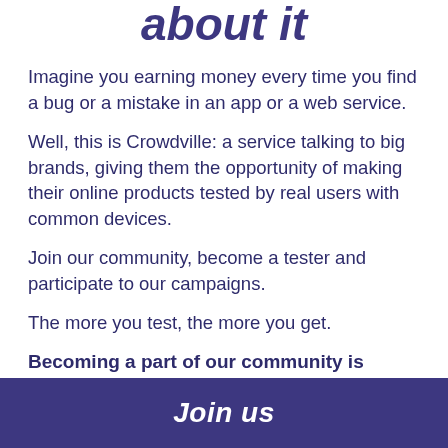about it
Imagine you earning money every time you find a bug or a mistake in an app or a web service.
Well, this is Crowdville: a service talking to big brands, giving them the opportunity of making their online products tested by real users with common devices.
Join our community, become a tester and participate to our campaigns.
The more you test, the more you get.
Becoming a part of our community is simple
Please register and we will...
Join us